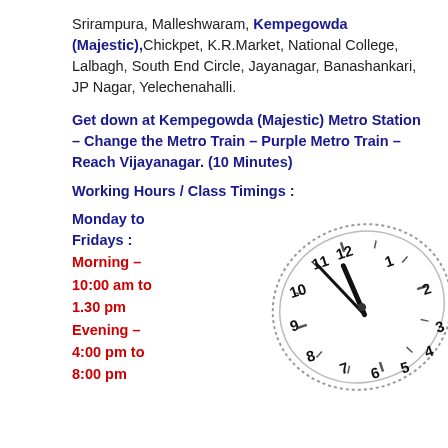Srirampura, Malleshwaram, Kempegowda (Majestic),Chickpet, K.R.Market, National College, Lalbagh, South End Circle, Jayanagar, Banashankari,  JP Nagar, Yelechenahalli.
Get down at Kempegowda (Majestic) Metro Station – Change the Metro Train – Purple Metro Train – Reach Vijayanagar. (10 Minutes)
Working Hours / Class Timings :
Monday to Fridays : Morning – 10:00 am to 1.30 pm Evening – 4:00 pm to 8:00 pm
[Figure (illustration): A tilted analog clock face showing approximately 12:55, with black Arabic numerals and clock hands on a white face with a dotted border.]